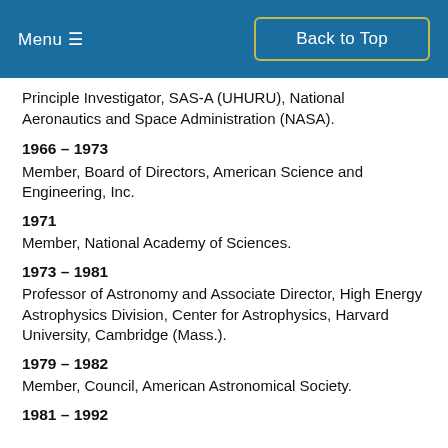Menu ☰   Back to Top
Principle Investigator, SAS-A (UHURU), National Aeronautics and Space Administration (NASA).
1966 – 1973
Member, Board of Directors, American Science and Engineering, Inc.
1971
Member, National Academy of Sciences.
1973 – 1981
Professor of Astronomy and Associate Director, High Energy Astrophysics Division, Center for Astrophysics, Harvard University, Cambridge (Mass.).
1979 – 1982
Member, Council, American Astronomical Society.
1981 – 1992